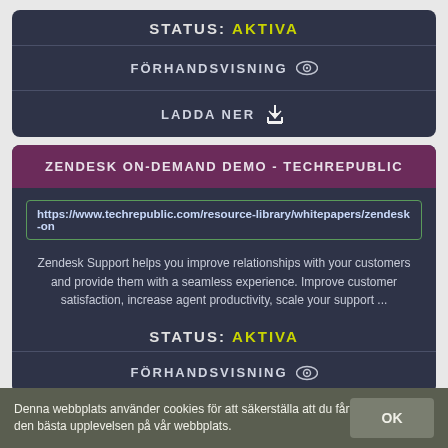STATUS: AKTIVA
FÖRHANDSVISNING
LADDA NER
ZENDESK ON-DEMAND DEMO - TECHREPUBLIC
https://www.techrepublic.com/resource-library/whitepapers/zendesk-on
Zendesk Support helps you improve relationships with your customers and provide them with a seamless experience. Improve customer satisfaction, increase agent productivity, scale your support ...
STATUS: AKTIVA
FÖRHANDSVISNING
Denna webbplats använder cookies för att säkerställa att du får den bästa upplevelsen på vår webbplats.
OK